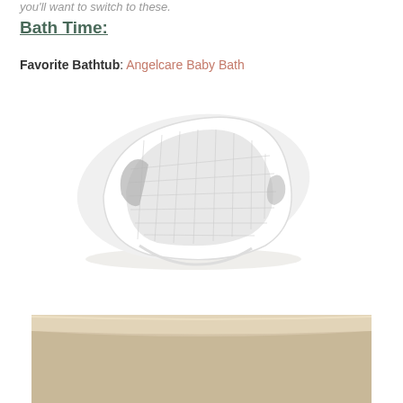you'll want to switch to these.
Bath Time:
Favorite Bathtub: Angelcare Baby Bath
[Figure (photo): Angelcare Baby Bath seat - a white mesh/net hammock-style infant bath support with gray accents, shown on white background]
[Figure (photo): Partial view of a beige/tan colored bathtub or tub surround, cropped at bottom of page]